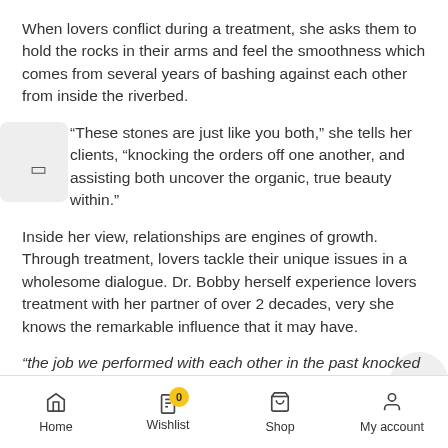When lovers conflict during a treatment, she asks them to hold the rocks in their arms and feel the smoothness which comes from several years of bashing against each other from inside the riverbed.
“These stones are just like you both,” she tells her clients, “knocking the orders off one another, and assisting both uncover the organic, true beauty within.”
Inside her view, relationships are engines of growth. Through treatment, lovers tackle their unique issues in a wholesome dialogue. Dr. Bobby herself experience lovers treatment with her partner of over 2 decades, very she knows the remarkable influence that it may have.
“the job we performed with each other in the past knocked the harsh sides off myself. It made me much more compassionate, much more reasonable, much more tolerant, and more unconditionally enjoying. It was great not
Home  Wishlist  Shop  My account